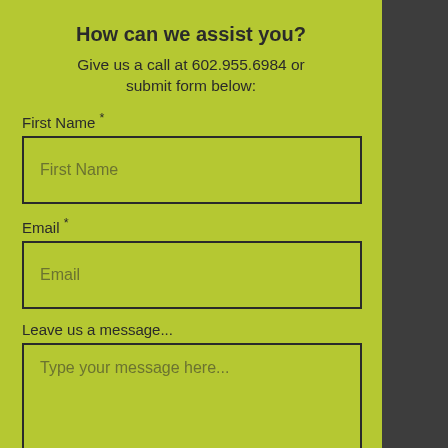How can we assist you?
Give us a call at 602.955.6984 or submit form below:
First Name *
First Name
Email *
Email
Leave us a message...
Type your message here...
Company *